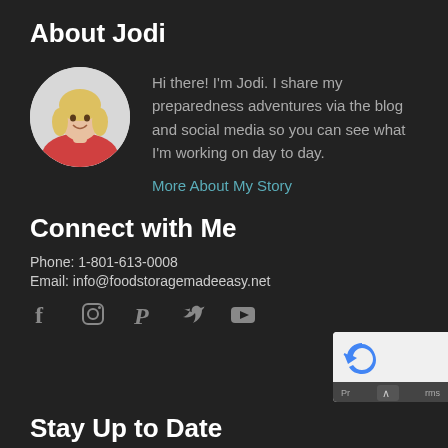About Jodi
[Figure (photo): Circular profile photo of a smiling blonde woman in a red top]
Hi there! I'm Jodi. I share my preparedness adventures via the blog and social media so you can see what I'm working on day to day.
More About My Story
Connect with Me
Phone: 1-801-613-0008
Email: info@foodstoragemadeeasy.net
[Figure (illustration): Social media icons: Facebook, Instagram, Pinterest, Twitter, YouTube]
Stay Up to Date